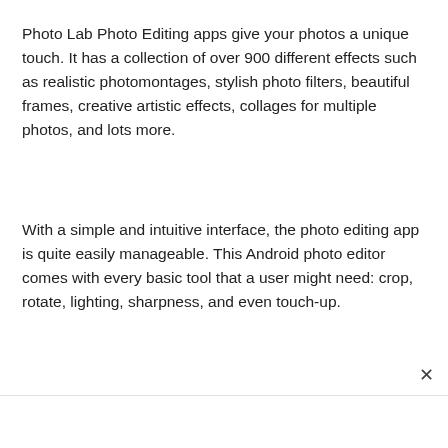Photo Lab Photo Editing apps give your photos a unique touch. It has a collection of over 900 different effects such as realistic photomontages, stylish photo filters, beautiful frames, creative artistic effects, collages for multiple photos, and lots more.
With a simple and intuitive interface, the photo editing app is quite easily manageable. This Android photo editor comes with every basic tool that a user might need: crop, rotate, lighting, sharpness, and even touch-up.